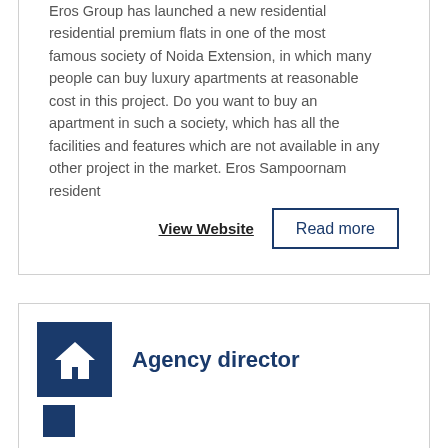Eros Group has launched a new residential residential premium flats in one of the most famous society of Noida Extension, in which many people can buy luxury apartments at reasonable cost in this project. Do you want to buy an apartment in such a society, which has all the facilities and features which are not available in any other project in the market. Eros Sampoornam resident
View Website
Read more
Agency director
August 11, 2022
London